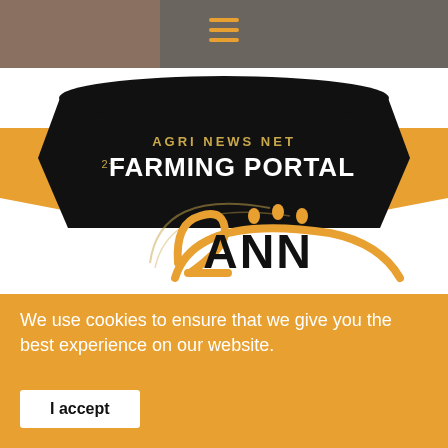[Figure (screenshot): Gray header background with a darker brownish-gray area on the left side (partial photo), and an orange hamburger menu icon centered at the top]
[Figure (logo): ZANN Agri News Net Farming Portal logo: black banner ribbon with orange sides reading 'AGRI NEWS NET FARMING PORTAL' in white/gold text, and below it the ZANN logo with orange stylized '2ANN' lettering and dots above, with a circular swoosh arc in orange]
We use cookies to ensure that we give you the best experience on our website.
I accept